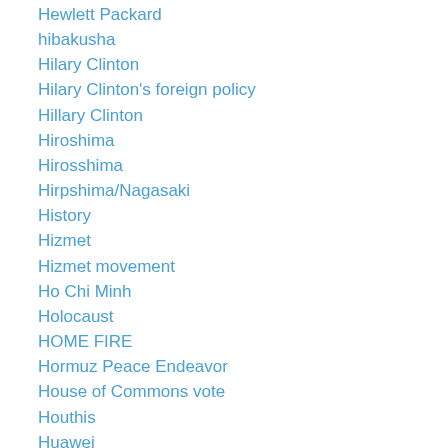Hewlett Packard
hibakusha
Hilary Clinton
Hilary Clinton's foreign policy
Hillary Clinton
Hiroshima
Hirosshima
Hirpshima/Nagasaki
History
Hizmet
Hizmet movement
Ho Chi Minh
Holocaust
HOME FIRE
Hormuz Peace Endeavor
House of Commons vote
Houthis
Huawei
human interest
human interests